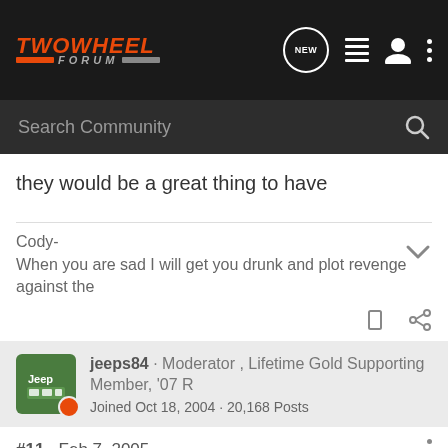TWOWHEEL FORUM
Search Community
they would be a great thing to have
Cody-
When you are sad I will get you drunk and plot revenge against the
jeeps84 · Moderator , Lifetime Gold Supporting Member, '07 R
Joined Oct 18, 2004 · 20,168 Posts
#11 · Feb 7, 2005